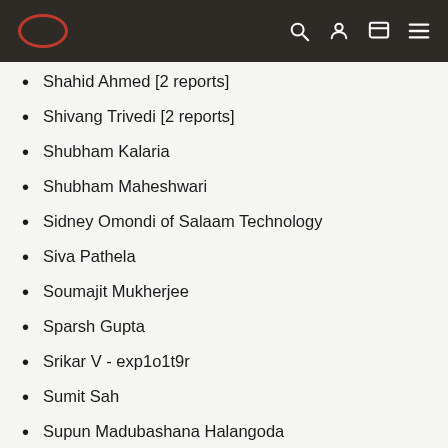Oracle logo and navigation bar
Shahid Ahmed [2 reports]
Shivang Trivedi [2 reports]
Shubham Kalaria
Shubham Maheshwari
Sidney Omondi of Salaam Technology
Siva Pathela
Soumajit Mukherjee
Sparsh Gupta
Srikar V - exp1o1t9r
Sumit Sah
Supun Madubashana Halangoda
Suresh Nadar
Swapnil Maurya - "swapmaurya20"
Syed Muhammad Asim [2 reports]